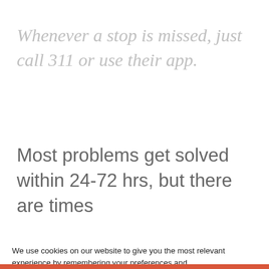Whenever a stop is missed, just call 311 or use their app.
Most problems get solved within 24-72 hrs, but there are times
We use cookies on our website to give you the most relevant experience by remembering your preferences and repeating visits. By clicking "Accept All", you consent to all.
Join Our Newsletter
Enter your email
Subscribe